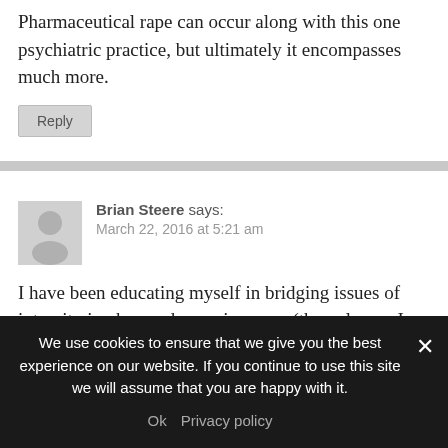Pharmaceutical rape can occur along with this one psychiatric practice, but ultimately it encompasses much more.
Reply
Brian Steere says: March 22, 2016 at 5:21 am
I have been educating myself in bridging issues of integrity in observed consciousness (the only one I have 😉 with reflections in our world – of collective consciousness. There are many destructive and
We use cookies to ensure that we give you the best experience on our website. If you continue to use this site we will assume that you are happy with it.
Ok  Privacy policy